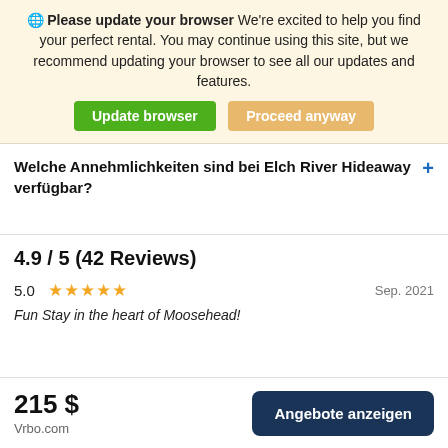Please update your browser We're excited to help you find your perfect rental. You may continue using this site, but we recommend updating your browser to see all our updates and features.
Update browser | Proceed anyway
Welche Annehmlichkeiten sind bei Elch River Hideaway verfügbar? +
4.9 / 5 (42 Reviews)
5.0 ★★★★★ Sep. 2021
Fun Stay in the heart of Moosehead!
215 $ Vrbo.com
Angebote anzeigen